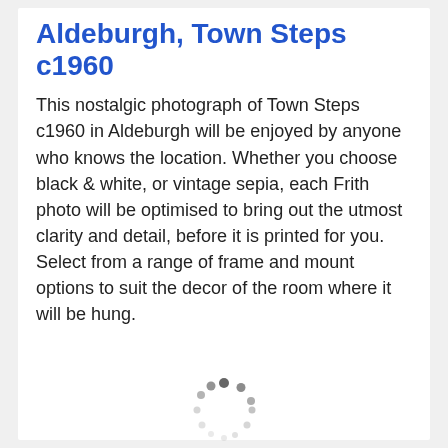Aldeburgh, Town Steps c1960
This nostalgic photograph of Town Steps c1960 in Aldeburgh will be enjoyed by anyone who knows the location. Whether you choose black & white, or vintage sepia, each Frith photo will be optimised to bring out the utmost clarity and detail, before it is printed for you. Select from a range of frame and mount options to suit the decor of the room where it will be hung.
[Figure (other): A loading spinner (circular arrangement of dots) with the text 'Please wait....' below it.]